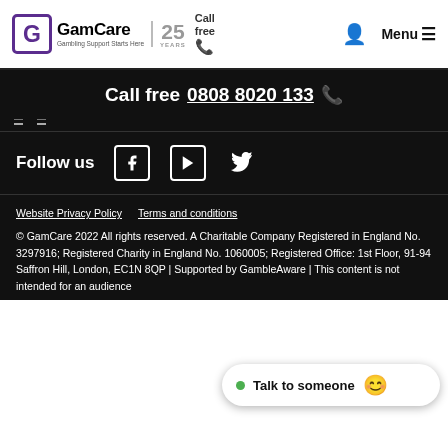GamCare — Gambling Support Starts Here | 25 YEARS | Call free | Menu
Call free 0808 8020 133
Follow us
Website Privacy Policy   Terms and conditions
© GamCare 2022 All rights reserved. A Charitable Company Registered in England No. 3297916; Registered Charity in England No. 1060005; Registered Office: 1st Floor, 91-94 Saffron Hill, London, EC1N 8QP | Supported by GambleAware | This content is not intended for an audience
Talk to someone